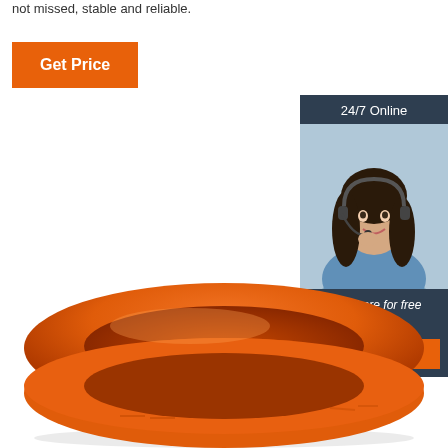not missed, stable and reliable.
[Figure (other): Orange 'Get Price' button]
[Figure (other): 24/7 online chat widget with customer service agent photo, 'Click here for free chat!' text, and orange QUOTATION button]
[Figure (photo): Orange silicone wristband/bracelet product photo]